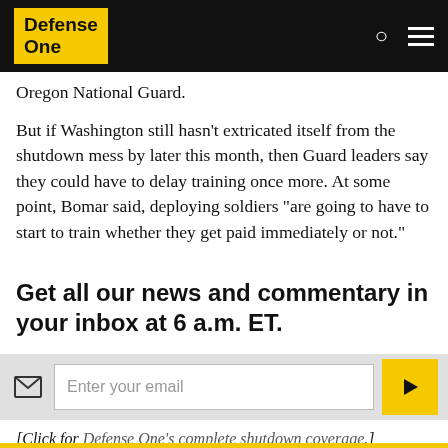Defense One
Oregon National Guard.
But if Washington still hasn't extricated itself from the shutdown mess by later this month, then Guard leaders say they could have to delay training once more. At some point, Bomar said, deploying soldiers "are going to have to start to train whether they get paid immediately or not."
Get all our news and commentary in your inbox at 6 a.m. ET.
Enter your email
[Click for Defense One's complete shutdown coverage.]